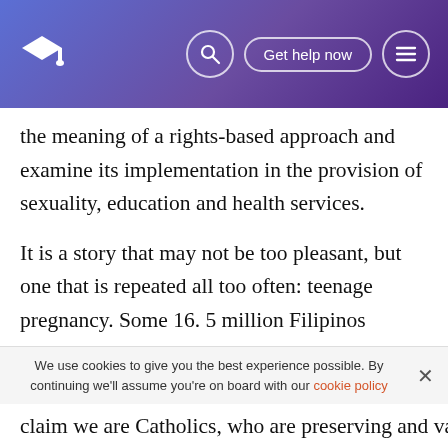🎓 [search icon] Get help now [menu icon]
the meaning of a rights-based approach and examine its implementation in the provision of sexuality, education and health services.
It is a story that may not be too pleasant, but one that is repeated all too often: teenage pregnancy. Some 16. 5 million Filipinos belong to the 15-24 year old age group. We are forced with a glaring truth that at a very young age, a lot of young people today have children of their own. 30 % of all births belong to this age group; and by the age of 20, 25% of the youth are already mothers. Statistics show that every year at least 64,000 teenagers have abortions, and those are
We use cookies to give you the best experience possible. By continuing we'll assume you're on board with our cookie policy
claim we are Catholics, who are preserving and valuing lite